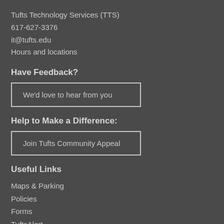Tufts Technology Services (TTS)
617-627-3376
it@tufts.edu
Hours and locations
Have Feedback?
We'd love to hear from you
Help to Make a Difference:
Join Tufts Community Appeal
Useful Links
Maps & Parking
Policies
Forms
TuftsAlert